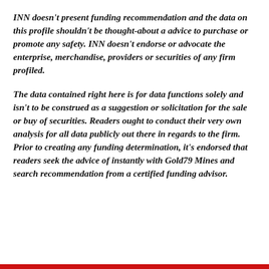INN doesn't present funding recommendation and the data on this profile shouldn't be thought-about a advice to purchase or promote any safety. INN doesn't endorse or advocate the enterprise, merchandise, providers or securities of any firm profiled.
The data contained right here is for data functions solely and isn't to be construed as a suggestion or solicitation for the sale or buy of securities. Readers ought to conduct their very own analysis for all data publicly out there in regards to the firm. Prior to creating any funding determination, it's endorsed that readers seek the advice of instantly with Gold79 Mines and search recommendation from a certified funding advisor.